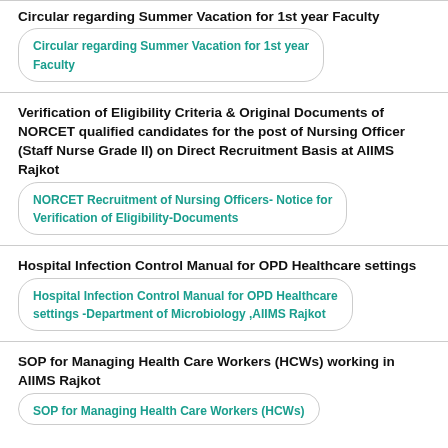Circular regarding Summer Vacation for 1st year Faculty
Circular regarding Summer Vacation for 1st year Faculty
Verification of Eligibility Criteria & Original Documents of NORCET qualified candidates for the post of Nursing Officer (Staff Nurse Grade II) on Direct Recruitment Basis at AIIMS Rajkot
NORCET Recruitment of Nursing Officers- Notice for Verification of Eligibility-Documents
Hospital Infection Control Manual for OPD Healthcare settings
Hospital Infection Control Manual for OPD Healthcare settings -Department of Microbiology ,AIIMS Rajkot
SOP for Managing Health Care Workers (HCWs) working in AIIMS Rajkot
SOP for Managing Health Care Workers (HCWs)